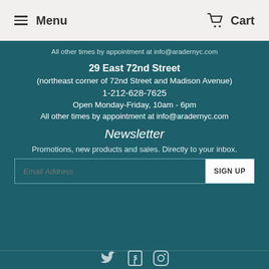Menu   Cart
All other times by appointment at info@aradernyc.com
29 East 72nd Street
(northeast corner of 72nd Street and Madison Avenue)
1-212-628-7625
Open Monday-Friday, 10am - 6pm
All other times by appointment at info@aradernyc.com
Newsletter
Promotions, new products and sales. Directly to your inbox.
[Figure (other): Email signup form with placeholder text 'Email Address' and a SIGN UP button]
[Figure (other): Social media icons: Twitter, Facebook, Instagram]